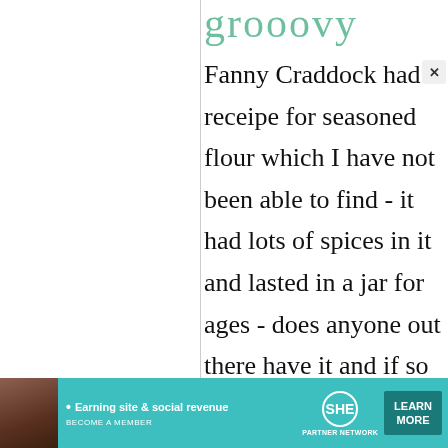grooovy
Fanny Craddock had a receipe for seasoned flour which I have not been able to find - it had lots of spices in it and lasted in a jar for ages - does anyone out there have it and if so could they share it?
[Figure (infographic): Advertisement banner for SHE Media Partner Network with text 'Earning site & social revenue', SHE logo, and 'LEARN MORE' button]